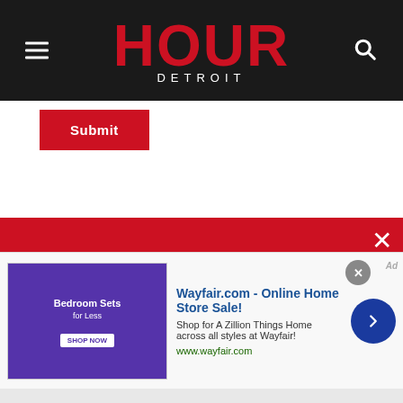HOUR DETROIT
Submit
[Figure (illustration): Article banner image showing 'CHILD CUSTO...' on left and 'KNOW YOUR PARENTAL...' on right, blue gradient background]
[Figure (screenshot): Red newsletter popup overlay: 'Want more Detroit? Join our newsletter list!' with city aerial photo thumbnail and X close button]
[Figure (screenshot): Ad banner: Wayfair.com - Online Home Store Sale! Shop for A Zillion Things Home across all styles at Wayfair! www.wayfair.com]